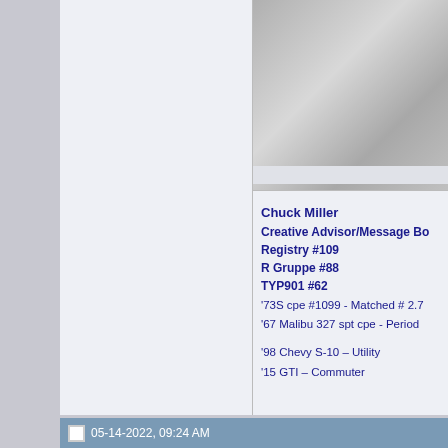[Figure (photo): Partial view of a gray/silver textured surface, likely car interior leather or fabric, cropped at top right corner of page]
Chuck Miller
Creative Advisor/Message Bo
Registry #109
R Gruppe #88
TYP901 #62
'73S cpe #1099 - Matched # 2.7
'67 Malibu 327 spt cpe - Period

'98 Chevy S-10 – Utility
'15 GTI – Commuter
05-14-2022, 09:24 AM
1969911T
Attachment 574902
Thanks Chuck